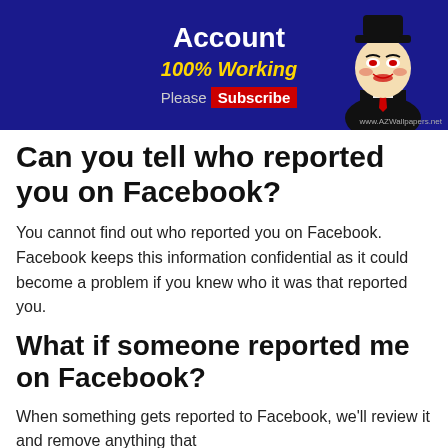[Figure (illustration): Dark blue banner with 'Facebook Account' in white bold text, '100% Working' in yellow italic, 'Please Subscribe' button, and an Anonymous/Guy Fawkes mask figure on the right side.]
Can you tell who reported you on Facebook?
You cannot find out who reported you on Facebook. Facebook keeps this information confidential as it could become a problem if you knew who it was that reported you.
What if someone reported me on Facebook?
When something gets reported to Facebook, we'll review it and remove anything that